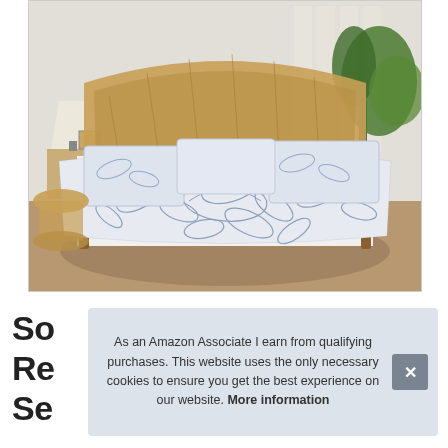[Figure (photo): Product photo of a bed with blue and white tropical leaf pattern quilt/bedspread set in a coastal-style bedroom with wicker headboard, rattan side table, lamp, and tropical plants near large windows.]
So
Re
Se
As an Amazon Associate I earn from qualifying purchases. This website uses the only necessary cookies to ensure you get the best experience on our website. More information